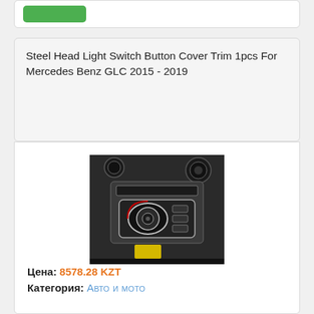Steel Head Light Switch Button Cover Trim 1pcs For Mercedes Benz GLC 2015 - 2019
[Figure (photo): Photo of a Mercedes Benz GLC dashboard showing a chrome-trimmed head light switch button cover in the interior]
Цена: 8578.28 KZT
Категория: Авто и мото